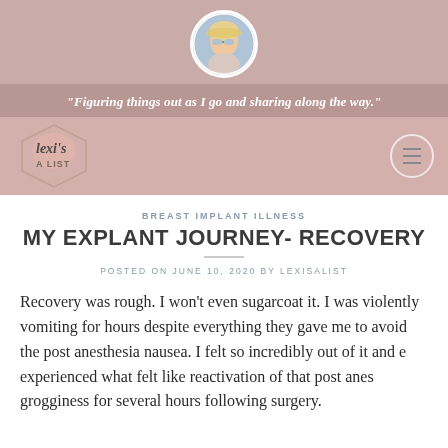[Figure (photo): Circular profile photo of a woman wearing sunglasses and a hat, outdoors]
"Figuring things out as I go and sharing along the way."
[Figure (logo): Lexi's A List blog logo in a hexagonal frame]
BREAST IMPLANT ILLNESS
MY EXPLANT JOURNEY- RECOVERY
POSTED ON JUNE 10, 2020 BY LEXISALIST
Recovery was rough. I won’t even sugarcoat it. I was violently vomiting for hours despite everything they gave me to avoid the post anesthesia nausea. I felt so incredibly out of it and experienced what felt like reactivation of that post anesthesia grogginess for several hours following surgery.